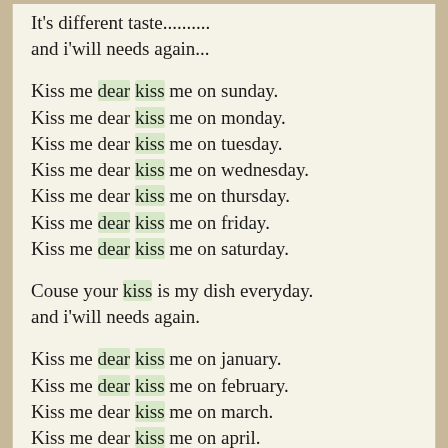It's different taste..........
and i'will needs again...
Kiss me dear kiss me on sunday.
Kiss me dear kiss me on monday.
Kiss me dear kiss me on tuesday.
Kiss me dear kiss me on wednesday.
Kiss me dear kiss me on thursday.
Kiss me dear kiss me on friday.
Kiss me dear kiss me on saturday.
Couse your kiss is my dish everyday.
and i'will needs again.
Kiss me dear kiss me on january.
Kiss me dear kiss me on february.
Kiss me dear kiss me on march.
Kiss me dear kiss me on april.
Kiss me dear kiss me on may.
Kiss me dear kiss me on june.
Kiss me dear kiss me on july.